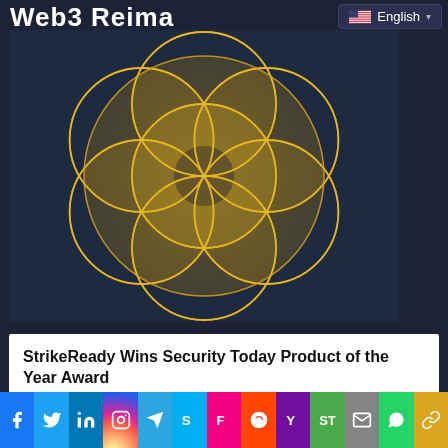Web3 Reima...
[Figure (logo): Flower of Life geometric pattern in gold/yellow overlapping circles on dark navy background]
StrikeReady Wins Security Today Product of the Year Award
FINTECH | September 4, 2022
[Figure (infographic): Social media sharing bar with icons: Facebook, Twitter, LinkedIn, Instagram, Telegram, Skype, Flipboard, Reddit, Yahoo, SureTrader, Email, WhatsApp, Copy]